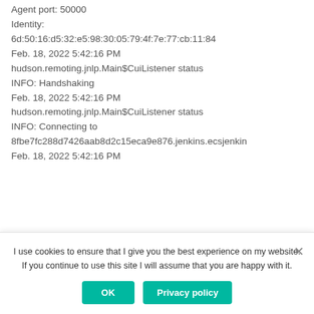Agent port: 50000
Identity:
6d:50:16:d5:32:e5:98:30:05:79:4f:7e:77:cb:11:84
Feb. 18, 2022 5:42:16 PM
hudson.remoting.jnlp.Main$CuiListener status
INFO: Handshaking
Feb. 18, 2022 5:42:16 PM
hudson.remoting.jnlp.Main$CuiListener status
INFO: Connecting to
8fbe7fc288d7426aab8d2c15eca9e876.jenkins.ecsjenkin
Feb. 18, 2022 5:42:16 PM
I use cookies to ensure that I give you the best experience on my website. If you continue to use this site I will assume that you are happy with it.
OK
Privacy policy